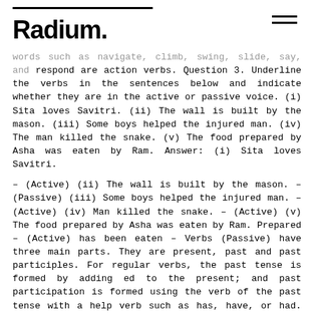Radium.
words such as navigate, climb, swing, slide, say, and respond are action verbs. Question 3. Underline the verbs in the sentences below and indicate whether they are in the active or passive voice. (i) Sita loves Savitri. (ii) The wall is built by the mason. (iii) Some boys helped the injured man. (iv) The man killed the snake. (v) The food prepared by Asha was eaten by Ram. Answer: (i) Sita loves Savitri.
– (Active) (ii) The wall is built by the mason. – (Passive) (iii) Some boys helped the injured man. – (Active) (iv) Man killed the snake. – (Active) (v) The food prepared by Asha was eaten by Ram. Prepared – (Active) has been eaten – Verbs (Passive) have three main parts. They are present, past and past participles. For regular verbs, the past tense is formed by adding ed to the present; and past participation is formed using the verb of the past tense with a help verb such as has, have, or had. Example: Example: He`s a good boy. (Singular subject, Singular Verb) They are good players (plural subject, plural verb) Live worksheets > English >